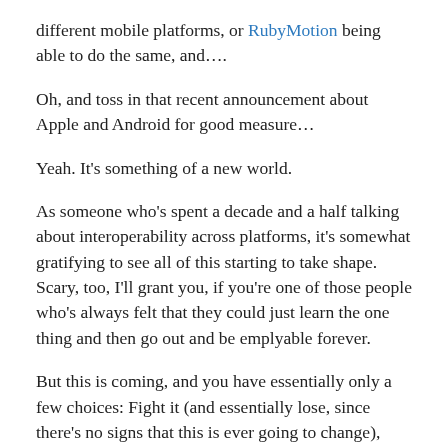different mobile platforms, or RubyMotion being able to do the same, and….
Oh, and toss in that recent announcement about Apple and Android for good measure…
Yeah. It's something of a new world.
As someone who's spent a decade and a half talking about interoperability across platforms, it's somewhat gratifying to see all of this starting to take shape. Scary, too, I'll grant you, if you're one of those people who's always felt that they could just learn the one thing and then go out and be emplyable forever.
But this is coming, and you have essentially only a few choices: Fight it (and essentially lose, since there's no signs that this is ever going to change), ignore it (and essentially become obsolete over time), or embrace it